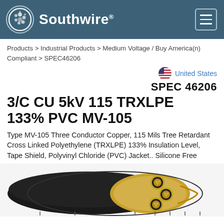Southwire
Products > Industrial Products > Medium Voltage / Buy America(n) Compliant > SPEC46206
United States
SPEC 46206
3/C CU 5kV 115 TRXLPE 133% PVC MV-105
Type MV-105 Three Conductor Copper, 115 Mils Tree Retardant Cross Linked Polyethylene (TRXLPE) 133% Insulation Level, Tape Shield, Polyvinyl Chloride (PVC) Jacket.. Silicone Free
[Figure (photo): Cross-section illustration of a 3/C CU 5kV 115 TRXLPE 133% PVC MV-105 cable showing the multi-conductor interior with copper conductors, insulation layers, tape shield, and PVC jacket, displayed from side angle with cutaway view.]